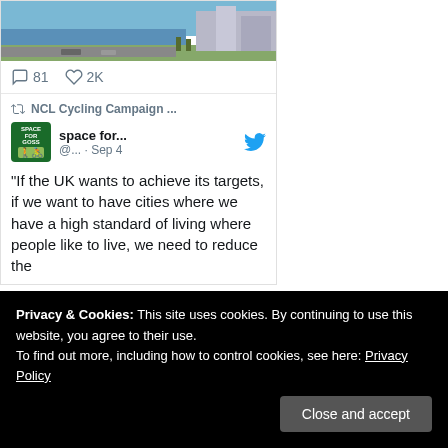[Figure (photo): Aerial/waterfront photo of a coastal city scene with road and buildings]
81  2K
NCL Cycling Campaign ...
space for... @... · Sep 4
“If the UK wants to achieve its targets, if we want to have cities where we have a high standard of living where people like to live, we need to reduce the
Privacy & Cookies: This site uses cookies. By continuing to use this website, you agree to their use.
To find out more, including how to control cookies, see here: Privacy Policy
Close and accept
NCL Cycl...